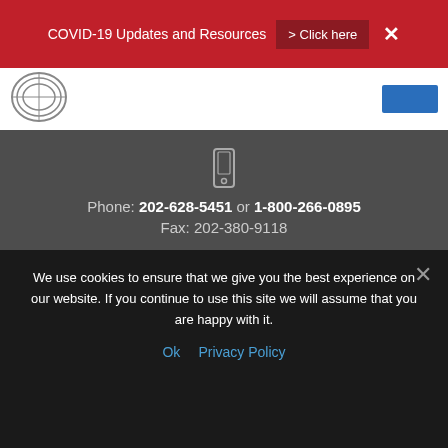COVID-19 Updates and Resources  > Click here  ✕
[Figure (logo): Organization logo (circular emblem) in top left header bar]
Phone: 202-628-5451 or 1-800-266-0895
Fax: 202-380-9118
1325 Massachusetts Avenue
N.W. Washington, DC. 20005 U.S.
We use cookies to ensure that we give you the best experience on our website. If you continue to use this site we will assume that you are happy with it.
Ok  Privacy Policy